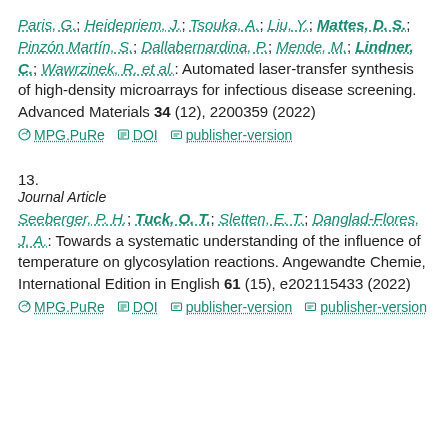Paris, G.; Heidepriem, J.; Tsouka, A.; Liu, Y.; Mattes, D. S.; Pinzón Martín, S.; Dallabernardina, P.; Mende, M.; Lindner, C.; Wawrzinek, R. et al.: Automated laser-transfer synthesis of high-density microarrays for infectious disease screening. Advanced Materials 34 (12), 2200359 (2022)
MPG.PuRe   DOI   publisher-version
13.
Journal Article
Seeberger, P. H.; Tuck, O. T.; Sletten, E. T.; Danglad-Flores, J. A.: Towards a systematic understanding of the influence of temperature on glycosylation reactions. Angewandte Chemie, International Edition in English 61 (15), e202115433 (2022)
MPG.PuRe   DOI   publisher-version   publisher-version